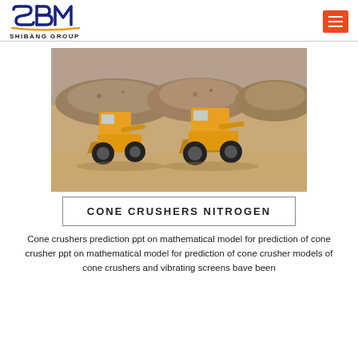SBM SHIBANG GROUP
[Figure (photo): Two yellow front-end loaders/wheel loaders inside an industrial warehouse with large piles of crushed rock/gravel material in the background.]
CONE CRUSHERS NITROGEN
Cone crushers prediction ppt on mathematical model for prediction of cone crusher ppt on mathematical model for prediction of cone crusher models of cone crushers and vibrating screens bave been